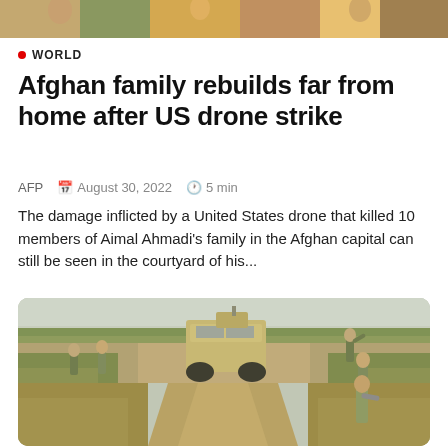[Figure (photo): Partial top strip showing a colorful image with people at the top of the page]
WORLD
Afghan family rebuilds far from home after US drone strike
AFP  August 30, 2022  5 min
The damage inflicted by a United States drone that killed 10 members of Aimal Ahmadi's family in the Afghan capital can still be seen in the courtyard of his...
[Figure (photo): Military soldiers with a Humvee armored vehicle on a dusty road surrounded by green scrubland under a hazy sky]